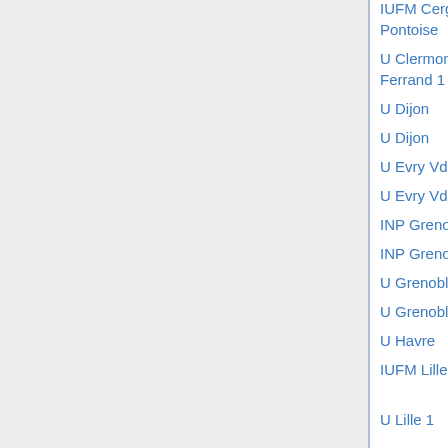| Institution | Description |
| --- | --- |
| IUFM Cergy-Pontoise | education (m25) |
| U Clermont-Ferrand 1 | (m26) |
| U Dijon | singularities (m25) |
| U Dijon | alg/top (m25) |
| U Evry VdE | biomath (m26) |
| U Evry VdE | finance (m26) |
| INP Grenoble | finance (m26) |
| INP Grenoble | sci comp (m26) |
| U Grenoble 1 | biomath (m26/27) |
| U Grenoble 2 | applied stat (m26) |
| U Havre | diff eq (m25/26) |
| IUFM Lille | education (m25/26) |
| U Lille 1 | anal/cx geom (m25) |
| U Lille 1 | arith/alg geom (m25) |
| U Lille 1 | numer anal (m26) |